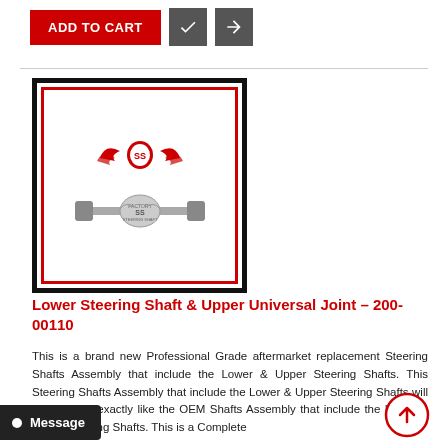[Figure (other): Add to Cart button (red) and two icon buttons (dark gray) with checkmark and arrow icons]
[Figure (logo): Product image placeholder with black outer border and red inner border, containing a winged Factory Steering Shaft logo at top and a steering shaft assembly graphic in center]
Lower Steering Shaft & Upper Universal Joint - 200-00110
This is a brand new Professional Grade aftermarket replacement Steering Shafts Assembly that include the Lower & Upper Steering Shafts. This Steering Shafts Assembly that include the Lower & Upper Steering Shafts will fit and work exactly like the OEM Shafts Assembly that include the Lower & Upper Steering Shafts. This is a Complete
[Figure (other): Message chat bubble button at bottom left]
[Figure (other): Scroll-up circular arrow button at bottom right]